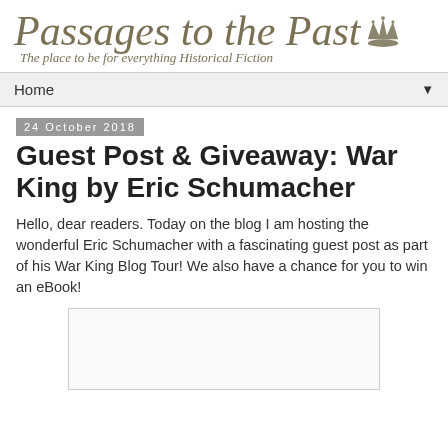Passages to the Past — The place to be for everything Historical Fiction
Home
24 October 2018
Guest Post & Giveaway: War King by Eric Schumacher
Hello, dear readers. Today on the blog I am hosting the wonderful Eric Schumacher with a fascinating guest post as part of his War King Blog Tour! We also have a chance for you to win an eBook!
[Figure (photo): Partial image placeholder at bottom of page]